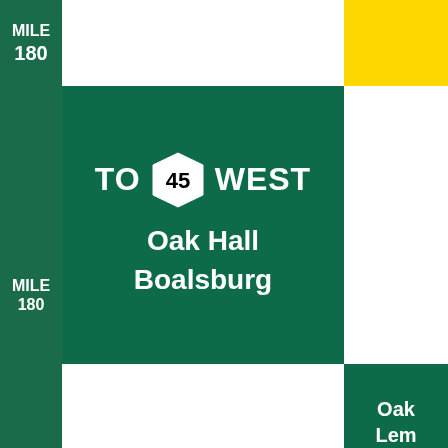[Figure (infographic): Highway guide sign layout showing TO PA Route 45 WEST, Oak Hall, Boalsburg with MILE 180 markers on left strip, yellow block top right, and partial green sign bottom right showing Oak Lem(ont)]
MILE 180
TO 45 WEST Oak Hall Boalsburg
MILE 180
Oak Lem